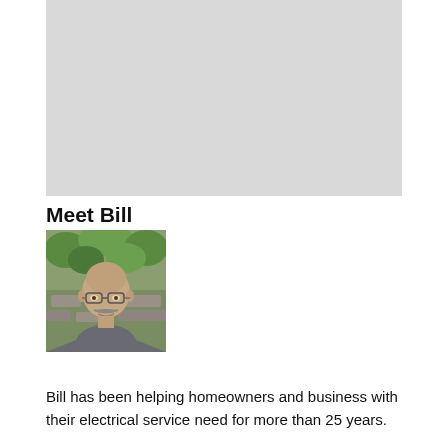[Figure (other): Gray placeholder banner image at the top of the page]
Meet Bill
[Figure (photo): Photograph of Bill — a middle-aged bald man with glasses and a mustache, wearing a gray t-shirt, photographed outdoors against a stone wall with green foliage]
Bill has been helping homeowners and business with their electrical service need for more than 25 years.